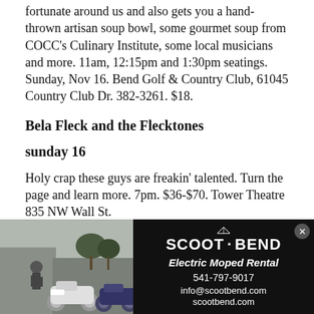fortunate around us and also gets you a hand-thrown artisan soup bowl, some gourmet soup from COCC's Culinary Institute, some local musicians and more. 11am, 12:15pm and 1:30pm seatings. Sunday, Nov 16. Bend Golf & Country Club, 61045 Country Club Dr. 382-3261. $18.
Bela Fleck and the Flecktones
sunday 16
Holy crap these guys are freakin' talented. Turn the page and learn more. 7pm. $36-$70. Tower Theatre 835 NW Wall St.
Leif James and the Struggle
wednesday 19
[Figure (photo): Advertisement for Scoot Bend Electric Moped Rental showing two electric mopeds parked outside with a person standing nearby, alongside the company logo, tagline Electric Moped Rental, phone number 541-797-9017, email info@scootbend.com, and website scootbend.com on a black background.]